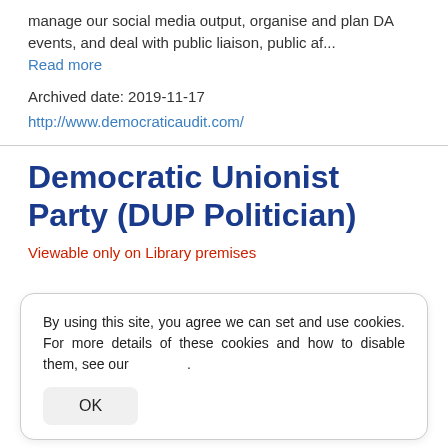manage our social media output, organise and plan DA events, and deal with public liaison, public af...
Read more
Archived date: 2019-11-17
http://www.democraticaudit.com/
Democratic Unionist Party (DUP Politician)
Viewable only on Library premises
By using this site, you agree we can set and use cookies. For more details of these cookies and how to disable them, see our .
OK